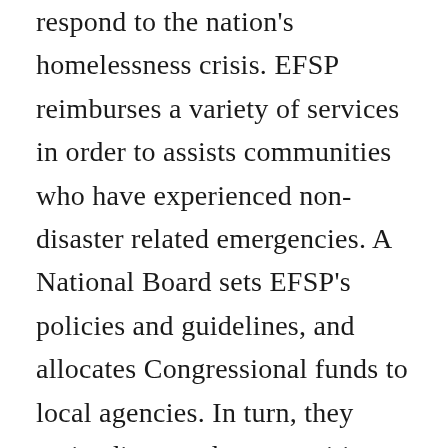respond to the nation's homelessness crisis. EFSP reimburses a variety of services in order to assists communities who have experienced non-disaster related emergencies. A National Board sets EFSP's policies and guidelines, and allocates Congressional funds to local agencies. In turn, they assist distressed communities. The Federal Emergency Management Agency (FEMA) chairs the National Board, which includes six human service and/or faith-based entities: American Red Cross, Catholic Charities USA, The Jewish Federations of